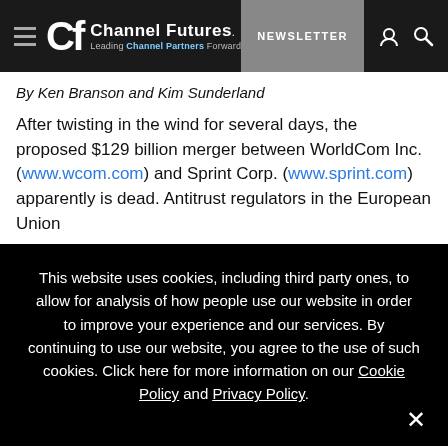Channel Futures — Leading Channel Partners Forward | NEWSLETTER
By Ken Branson and Kim Sunderland
After twisting in the wind for several days, the proposed $129 billion merger between WorldCom Inc. (www.wcom.com) and Sprint Corp. (www.sprint.com) apparently is dead. Antitrust regulators in the European Union
This website uses cookies, including third party ones, to allow for analysis of how people use our website in order to improve your experience and our services. By continuing to use our website, you agree to the use of such cookies. Click here for more information on our Cookie Policy and Privacy Policy.